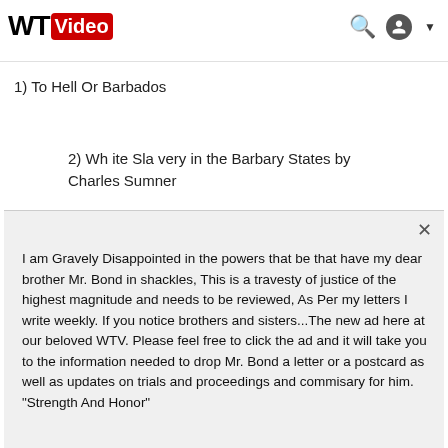WT Video
1) To Hell Or Barbados
2) Wh ite Sla very in the Barbary States by Charles Sumner
I am Gravely Disappointed in the powers that be that have my dear brother Mr. Bond in shackles, This is a travesty of justice of the highest magnitude and needs to be reviewed, As Per my letters I write weekly. If you notice brothers and sisters...The new ad here at our beloved WTV. Please feel free to click the ad and it will take you to the information needed to drop Mr. Bond a letter or a postcard as well as updates on trials and proceedings and commisary for him. "Strength And Honor"